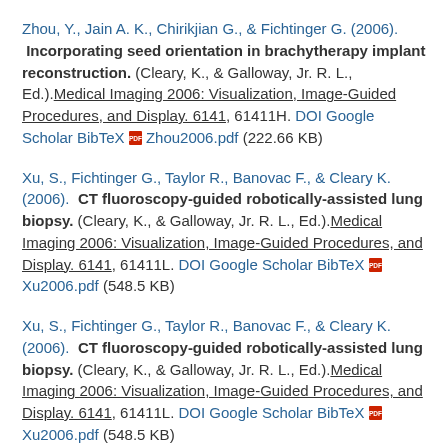Zhou, Y., Jain A. K., Chirikjian G., & Fichtinger G. (2006).  Incorporating seed orientation in brachytherapy implant reconstruction. (Cleary, K., & Galloway, Jr. R. L., Ed.).Medical Imaging 2006: Visualization, Image-Guided Procedures, and Display. 6141, 61411H. DOI Google Scholar BibTeX  Zhou2006.pdf (222.66 KB)
Xu, S., Fichtinger G., Taylor R., Banovac F., & Cleary K. (2006).  CT fluoroscopy-guided robotically-assisted lung biopsy. (Cleary, K., & Galloway, Jr. R. L., Ed.).Medical Imaging 2006: Visualization, Image-Guided Procedures, and Display. 6141, 61411L. DOI Google Scholar BibTeX  Xu2006.pdf (548.5 KB)
Xu, S., Fichtinger G., Taylor R., Banovac F., & Cleary K. (2006).  CT fluoroscopy-guided robotically-assisted lung biopsy. (Cleary, K., & Galloway, Jr. R. L., Ed.).Medical Imaging 2006: Visualization, Image-Guided Procedures, and Display. 6141, 61411L. DOI Google Scholar BibTeX  Xu2006.pdf (548.5 KB)